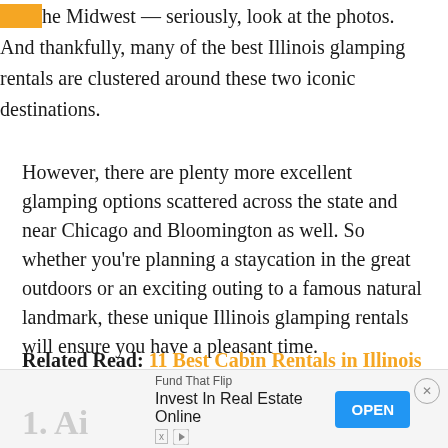he Midwest — seriously, look at the photos. And thankfully, many of the best Illinois glamping rentals are clustered around these two iconic destinations.
However, there are plenty more excellent glamping options scattered across the state and near Chicago and Bloomington as well. So whether you're planning a staycation in the great outdoors or an exciting outing to a famous natural landmark, these unique Illinois glamping rentals will ensure you have a pleasant time.
Related Read: 11 Best Cabin Rentals in Illinois For an Outdoor Getaway
1. Ai
[Figure (other): Advertisement banner: Fund That Flip — Invest In Real Estate Online, with OPEN button and close X]